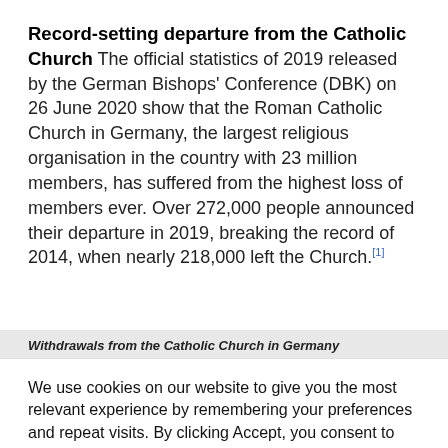Record-setting departure from the Catholic Church The official statistics of 2019 released by the German Bishops' Conference (DBK) on 26 June 2020 show that the Roman Catholic Church in Germany, the largest religious organisation in the country with 23 million members, has suffered from the highest loss of members ever. Over 272,000 people announced their departure in 2019, breaking the record of 2014, when nearly 218,000 left the Church.[1]
Withdrawals from the Catholic Church in Germany
We use cookies on our website to give you the most relevant experience by remembering your preferences and repeat visits. By clicking Accept, you consent to the cookie settings.
Cookie settings  Accept